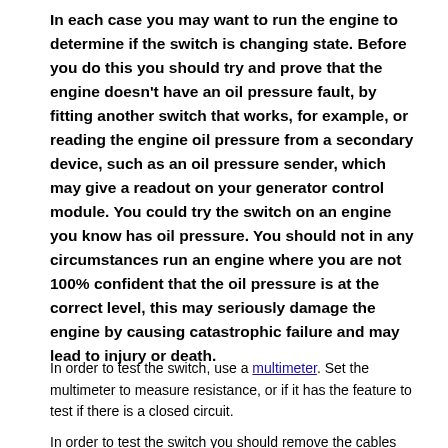In each case you may want to run the engine to determine if the switch is changing state. Before you do this you should try and prove that the engine doesn't have an oil pressure fault, by fitting another switch that works, for example, or reading the engine oil pressure from a secondary device, such as an oil pressure sender, which may give a readout on your generator control module. You could try the switch on an engine you know has oil pressure. You should not in any circumstances run an engine where you are not 100% confident that the oil pressure is at the correct level, this may seriously damage the engine by causing catastrophic failure and may lead to injury or death.
In order to test the switch, use a multimeter. Set the multimeter to measure resistance, or if it has the feature to test if there is a closed circuit.
In order to test the switch you should remove the cables that connect it to the generator control system, if you leave it